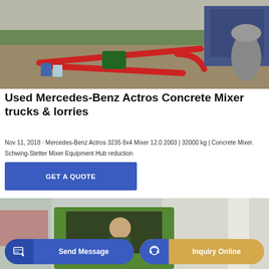[Figure (photo): Construction site with red pipes, concrete mixer machinery, gravel, and construction equipment outdoors.]
Used Mercedes-Benz Actros Concrete Mixer trucks & lorries
Nov 11, 2018 · Mercedes-Benz Actros 3235 8x4 Mixer 12.0 2003 | 32000 kg | Concrete Mixer. Schwing-Stetter Mixer Equipment Hub reduction
[Figure (other): Blue button with text GET A QUOTE]
[Figure (photo): Driver in green truck cab at a building exterior, urban setting.]
[Figure (other): Send Message button (blue, rounded) and Inquiry Online button (gold/yellow, rounded) overlaid on the bottom image.]